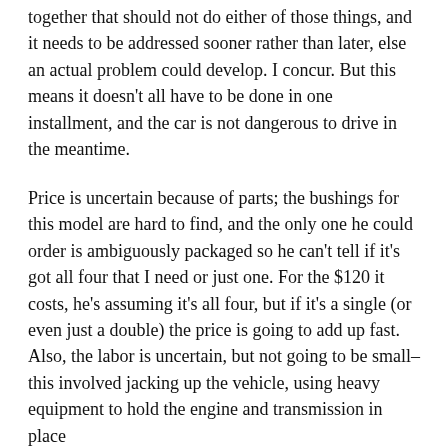together that should not do either of those things, and it needs to be addressed sooner rather than later, else an actual problem could develop. I concur. But this means it doesn't all have to be done in one installment, and the car is not dangerous to drive in the meantime.
Price is uncertain because of parts; the bushings for this model are hard to find, and the only one he could order is ambiguously packaged so he can't tell if it's got all four that I need or just one. For the $120 it costs, he's assuming it's all four, but if it's a single (or even just a double) the price is going to add up fast. Also, the labor is uncertain, but not going to be small–this involved jacking up the vehicle, using heavy equipment to hold the engine and transmission in place